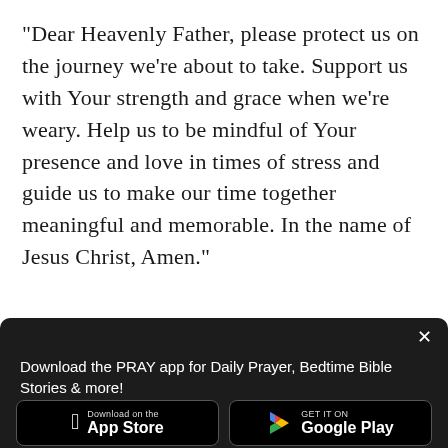“Dear Heavenly Father, please protect us on the journey we’re about to take. Support us with Your strength and grace when we’re weary. Help us to be mindful of Your presence and love in times of stress and guide us to make our time together meaningful and memorable. In the name of Jesus Christ, Amen.”
[Figure (photo): Partial photo of a dusky sky with silhouetted trees on the right, partially obscured by a dark modal overlay]
Download the PRAY app for Daily Prayer, Bedtime Bible Stories & more!
[Figure (other): Apple App Store download button — black rounded rectangle with Apple logo, 'Download on the App Store']
[Figure (other): Google Play download button — black rounded rectangle with Play triangle logo, 'GET IT ON Google Play']